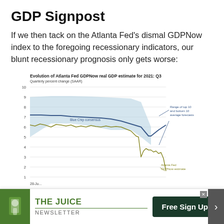GDP Signpost
If we then tack on the Atlanta Fed's dismal GDPNow index to the foregoing recessionary indicators, our blunt recessionary prognosis only gets worse:
[Figure (line-chart): Line chart showing the evolution of Atlanta Fed GDPNow real GDP estimate for 2021 Q3. Blue Chip consensus line starts around 7.2 and gently declines to about 6.4 then drops to ~5. Atlanta Fed GDPNow line starts around 6, fluctuates, drops sharply to about 3, then levels around 3.5-4. A shaded range band shows top 10 and bottom 10 average forecasts.]